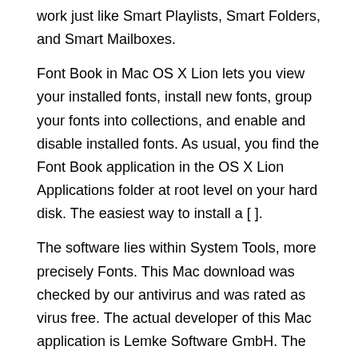work just like Smart Playlists, Smart Folders, and Smart Mailboxes.
Font Book in Mac OS X Lion lets you view your installed fonts, install new fonts, group your fonts into collections, and enable and disable installed fonts. As usual, you find the Font Book application in the OS X Lion Applications folder at root level on your hard disk. The easiest way to install a [ ].
The software lies within System Tools, more precisely Fonts. This Mac download was checked by our antivirus and was rated as virus free. The actual developer of this Mac application is Lemke Software GmbH. The bundle id for this app is ok.
The latest version of the application is supported on Mac OS X or ing System: OS X. After expanding the archive, open the iTunes Scripts for Mac OS X, then navigate into AppleWorks Stuff -> ITC Fonts.
There you'll find a collection of 25 fonts—everything from decorative. Font Book has been a part of OS X from the beginning. I checked the Limkesoft website and it's true, FontBook was available before OS X;